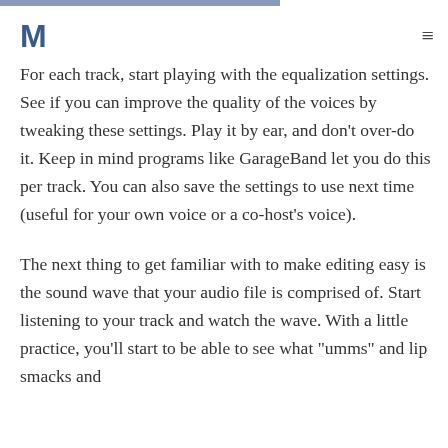M ≡
For each track, start playing with the equalization settings. See if you can improve the quality of the voices by tweaking these settings. Play it by ear, and don't over-do it. Keep in mind programs like GarageBand let you do this per track. You can also save the settings to use next time (useful for your own voice or a co-host's voice).
The next thing to get familiar with to make editing easy is the sound wave that your audio file is comprised of. Start listening to your track and watch the wave. With a little practice, you'll start to be able to see what "umms" and lip smacks and